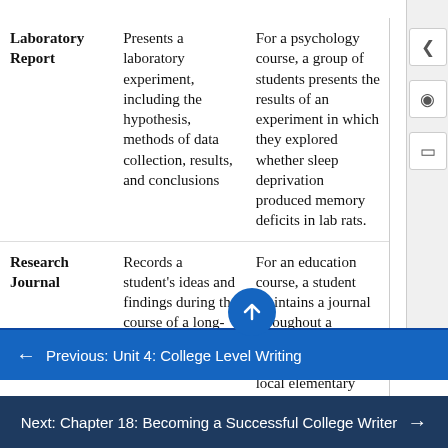| Type | Description | Example |
| --- | --- | --- |
| Laboratory Report | Presents a laboratory experiment, including the hypothesis, methods of data collection, results, and conclusions | For a psychology course, a group of students presents the results of an experiment in which they explored whether sleep deprivation produced memory deficits in lab rats. |
| Research Journal | Records a student's ideas and findings during the course of a long-term research project | For an education course, a student maintains a journal throughout a semester-long research project at a local elementary school |
← Previous: Unit 4: College Level Writing
Next: Chapter 18: Becoming a Successful College Writer →